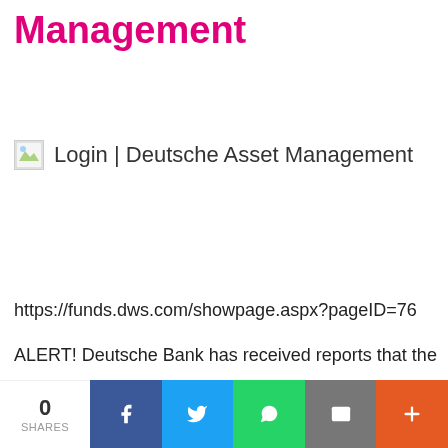Management
[Figure (screenshot): Broken image placeholder with text: Login | Deutsche Asset Management]
https://funds.dws.com/showpage.aspx?pageID=76
ALERT! Deutsche Bank has received reports that the Deutsche Bank name and brand are being misused to
0 SHARES | Facebook | Twitter | WhatsApp | Email | More